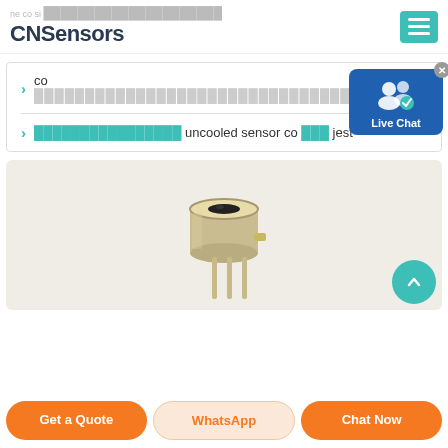CNSensors
co [corrupted text]
[corrupted text] uncooled sensor co [corrupted] jest
[Figure (photo): Close-up photo of an uncooled infrared sensor component with metallic housing and leads, on a beige/cream background]
Get a Quote | WhatsApp | Chat Now